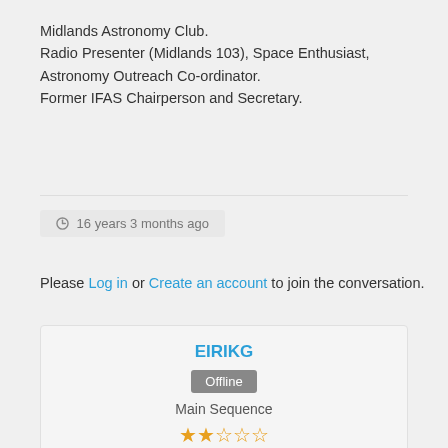Midlands Astronomy Club.
Radio Presenter (Midlands 103), Space Enthusiast,
Astronomy Outreach Co-ordinator.
Former IFAS Chairperson and Secretary.
16 years 3 months ago
Please Log in or Create an account to join the conversation.
EIRIKG
Offline
Main Sequence
★★☆☆☆
Posts: 303